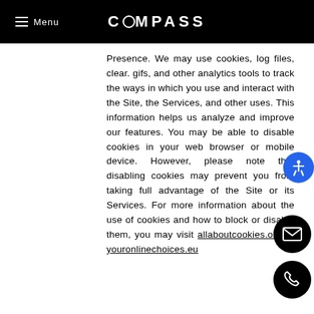Menu | COMPASS
Presence. We may use cookies, log files, clear. gifs, and other analytics tools to track the ways in which you use and interact with the Site, the Services, and other uses. This information helps us analyze and improve our features. You may be able to disable cookies in your web browser or mobile device. However, please note that disabling cookies may prevent you from taking full advantage of the Site or its Services. For more information about the use of cookies and how to block or disable them, you may visit allaboutcookies.org or youronlinechoices.eu